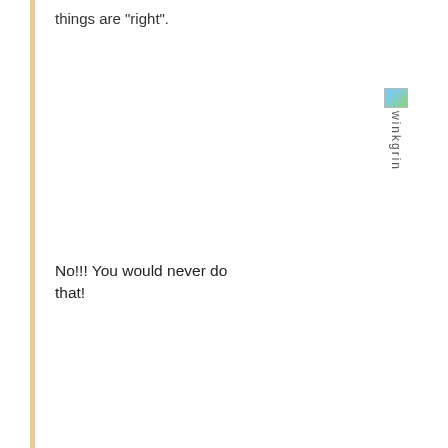things are "right".
No!!! You would never do that!
[Figure (illustration): Broken/missing image icon with alt text 'winkgrin' displayed vertically]
quote:
12/26/04 @ 8:38 PM
0